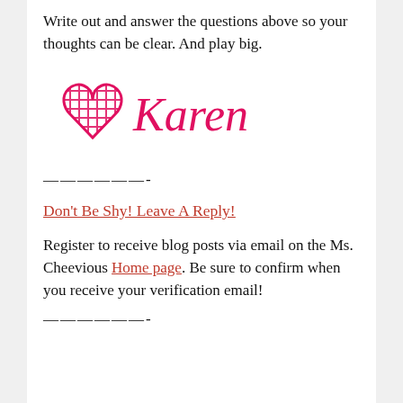Write out and answer the questions above so your thoughts can be clear. And play big.
[Figure (illustration): A hand-drawn pink/red heart with crosshatching and a cursive signature reading 'Karen' in pink/red ink next to it.]
——————-
Don't Be Shy! Leave A Reply!
Register to receive blog posts via email on the Ms. Cheevious Home page. Be sure to confirm when you receive your verification email!
——————-